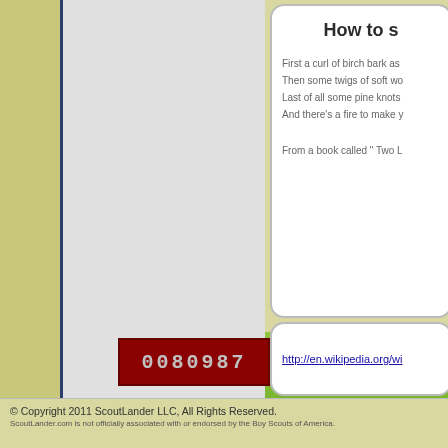How to s
First a curl of birch bark as
Then some twigs of soft wo
Last of all some pine knots
And there's a fire to make y
From a book called " Two L
http://en.wikipedia.org/wi
[Figure (other): Hit counter showing 0080987 in red LED-style display]
© Copyright 2011 ScoutLander LLC, All Rights Reserved.
ScoutLander.com is not officially associated with or endorsed by the Boy Scouts of America.